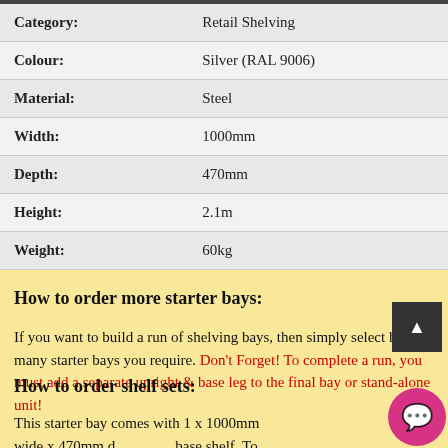| Category: | Value |
| --- | --- |
| Category: | Retail Shelving |
| Colour: | Silver (RAL 9006) |
| Material: | Steel |
| Width: | 1000mm |
| Depth: | 470mm |
| Height: | 2.1m |
| Weight: | 60kg |
How to order more starter bays:
If you want to build a run of shelving bays, then simply select how many starter bays you require. Don't Forget! To complete a run, you must add a separate upright & base leg to the final bay or stand-alone unit!
How to order shelf sets:
This starter bay comes with 1 x 1000mm wide x 470mm deep base shelf. To order more shelves, simply select from the list below. We will include the extra Shelf Brackets & EPOS Ticket